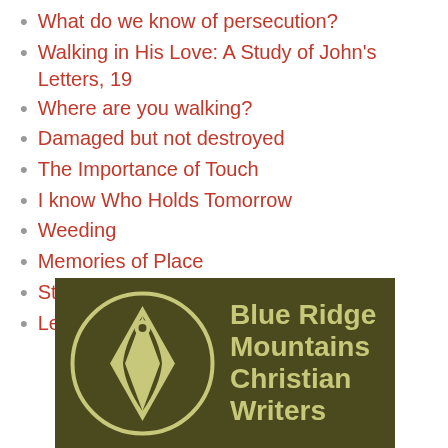What do we know of persecution?
Walking in His Love: A Study of John's Letters, 19
Where are you walking?
Damaged but not destroyed
The Importance of Touch
I know Who Holds Tomorrow
Weeding
Memories of Place
Sticking Together
Leaving the Door Open
[Figure (logo): Blue Ridge Mountains Christian Writers logo with a pen nib emblem inside a circle on a dark olive/brown background]